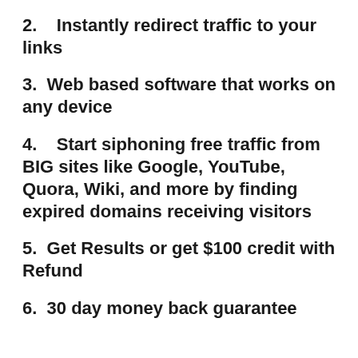2.    Instantly redirect traffic to your links
3.  Web based software that works on any device
4.    Start siphoning free traffic from BIG sites like Google, YouTube, Quora, Wiki, and more by finding expired domains receiving visitors
5.  Get Results or get $100 credit with Refund
6.  30 day money back guarantee